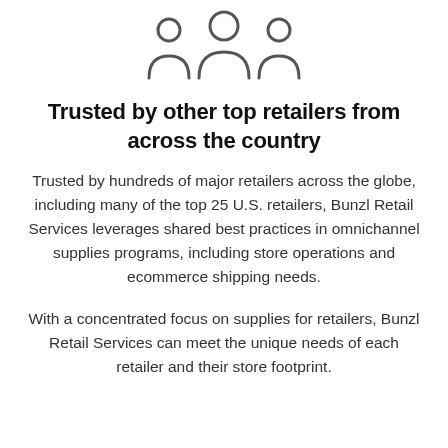[Figure (illustration): Three person/group icons arranged side by side, outline style, dark gray color]
Trusted by other top retailers from across the country
Trusted by hundreds of major retailers across the globe, including many of the top 25 U.S. retailers, Bunzl Retail Services leverages shared best practices in omnichannel supplies programs, including store operations and ecommerce shipping needs.
With a concentrated focus on supplies for retailers, Bunzl Retail Services can meet the unique needs of each retailer and their store footprint.